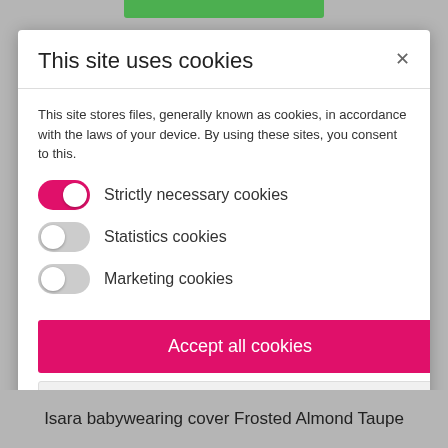This site uses cookies
This site stores files, generally known as cookies, in accordance with the laws of your device. By using these sites, you consent to this.
Strictly necessary cookies (toggle: on)
Statistics cookies (toggle: off)
Marketing cookies (toggle: off)
Accept all cookies
Allow only necessary cookies
More information
Isara babywearing cover Frosted Almond Taupe